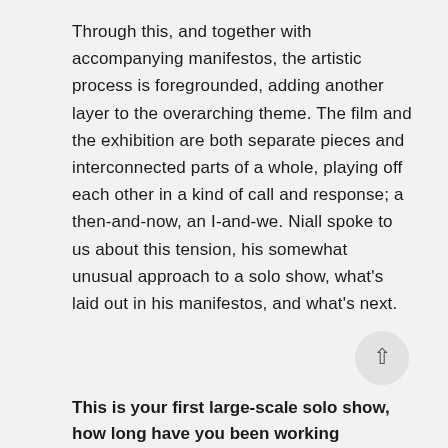Through this, and together with accompanying manifestos, the artistic process is foregrounded, adding another layer to the overarching theme. The film and the exhibition are both separate pieces and interconnected parts of a whole, playing off each other in a kind of call and response; a then-and-now, an I-and-we. Niall spoke to us about this tension, his somewhat unusual approach to a solo show, what's laid out in his manifestos, and what's next.
[Figure (other): Circular scroll-to-top button with an upward arrow icon, light grey background]
This is your first large-scale solo show, how long have you been working...